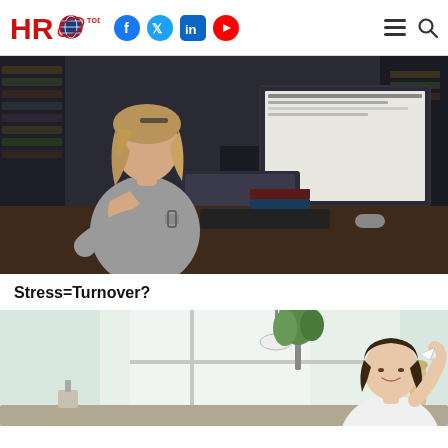HRO Today — navigation header with social icons
[Figure (photo): Woman at desk looking stressed, head in hand, with computer monitors in dark office setting]
Stress=Turnover?
[Figure (photo): Woman in bright kitchen holding a paper airplane]